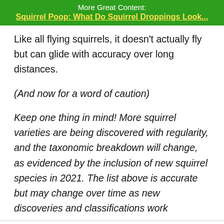More Great Content:
Squirrel Poop: What Do Squirrel Droppings Look...
Like all flying squirrels, it doesn't actually fly but can glide with accuracy over long distances.
(And now for a word of caution)
Keep one thing in mind! More squirrel varieties are being discovered with regularity, and the taxonomic breakdown will change, as evidenced by the inclusion of new squirrel species in 2021. The list above is accurate but may change over time as new discoveries and classifications work
their way through the system.